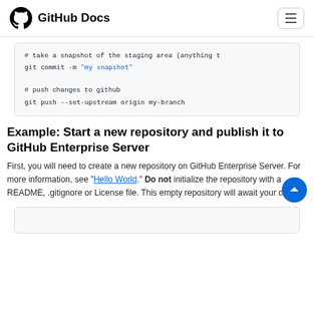GitHub Docs
[Figure (screenshot): Code block showing git commands: # take a snapshot of the staging area (anything t, git commit -m "my snapshot", # push changes to github, git push --set-upstream origin my-branch]
Example: Start a new repository and publish it to GitHub Enterprise Server
First, you will need to create a new repository on GitHub Enterprise Server. For more information, see "Hello World." Do not initialize the repository with a README, .gitignore or License file. This empty repository will await your code.
[Figure (screenshot): Bottom code block, partially visible]